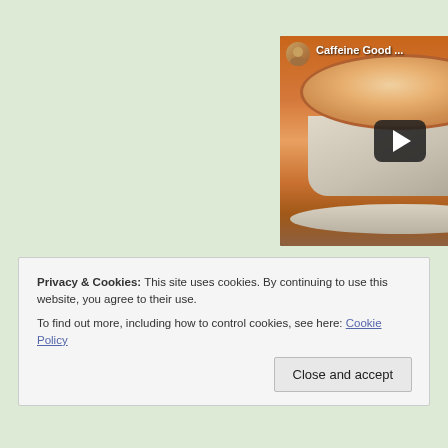[Figure (screenshot): A video thumbnail showing a latte coffee cup with latte art, a play button overlay in the center, a small circular channel avatar in the top-left corner with the title 'Caffeine Good ...' in white text.]
Privacy & Cookies: This site uses cookies. By continuing to use this website, you agree to their use.
To find out more, including how to control cookies, see here: Cookie Policy
Close and accept